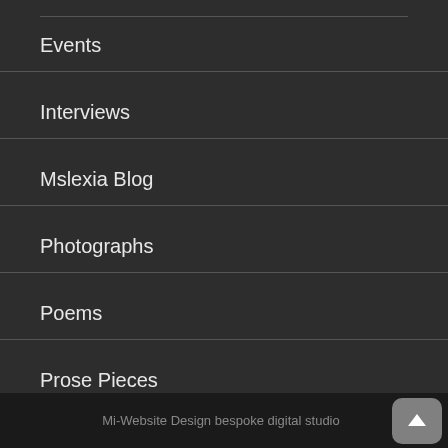Events
Interviews
Mslexia Blog
Photographs
Poems
Prose Pieces
Mi-Website Design bespoke digital studio